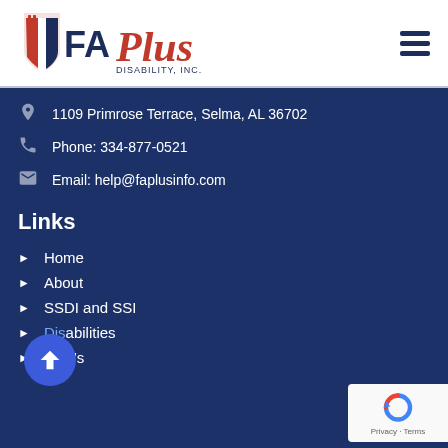[Figure (logo): FA Plus Disability Inc. logo with stylized eagle/shield icon in red, white and blue, with FAPlus text in navy and red script]
1109 Primrose Terrace, Selma, AL 36702
Phone: 334-877-0521
Email: help@faplusinfo.com
Links
Home
About
SSDI and SSI
Disabilities
FAQ's